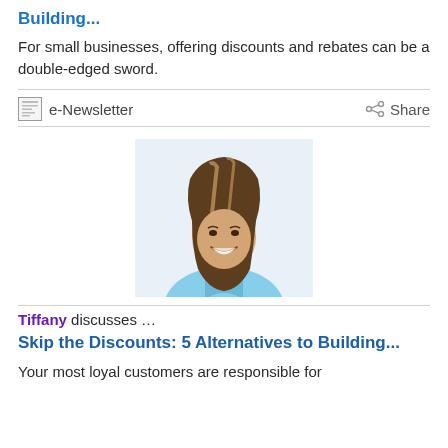Building...
For small businesses, offering discounts and rebates can be a double-edged sword.
e-Newsletter    Share
[Figure (photo): Portrait of a smiling woman with long brown highlighted hair, wearing a light blue top.]
Tiffany discusses …
Skip the Discounts: 5 Alternatives to Building...
Your most loyal customers are responsible for